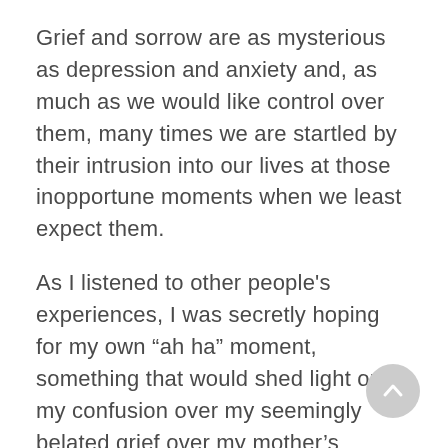Grief and sorrow are as mysterious as depression and anxiety and, as much as we would like control over them, many times we are startled by their intrusion into our lives at those inopportune moments when we least expect them.
As I listened to other people's experiences, I was secretly hoping for my own “ah ha” moment, something that would shed light on my confusion over my seemingly belated grief over my mother’s passing.  At the time of her death, life was bustling with the activity of our large family. I delved into assisting my dad as much as I could and then when it was all over, our family life swept me back into its busyness.  Over the